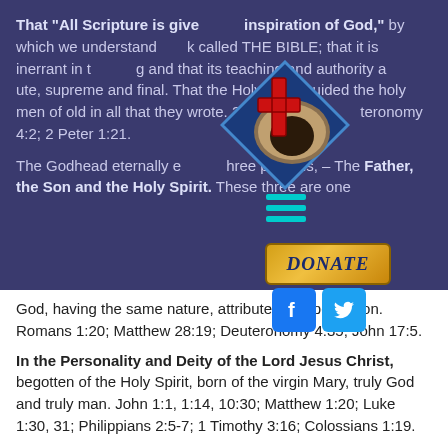That "All Scripture is given by inspiration of God," by which we understand the book called THE BIBLE; that it is inerrant in the original writing and that its teaching and authority are absolute, supreme and final. That the Holy Spirit guided the holy men of old in all that they wrote. 2 Timothy 3:16; Deuteronomy 4:2; 2 Peter 1:21.
[Figure (logo): Diamond shaped logo with cross and empty tomb image, hamburger menu icon, Donate button, Facebook and Twitter social icons]
The Godhead eternally exists in three persons, – The Father, the Son and the Holy Spirit. These three are one God, having the same nature, attributes and perfection. Romans 1:20; Matthew 28:19; Deuteronomy 4:35; John 17:5.
In the Personality and Deity of the Lord Jesus Christ, begotten of the Holy Spirit, born of the virgin Mary, truly God and truly man. John 1:1, 1:14, 10:30; Matthew 1:20; Luke 1:30, 31; Philippians 2:5-7; 1 Timothy 3:16; Colossians 1:19.